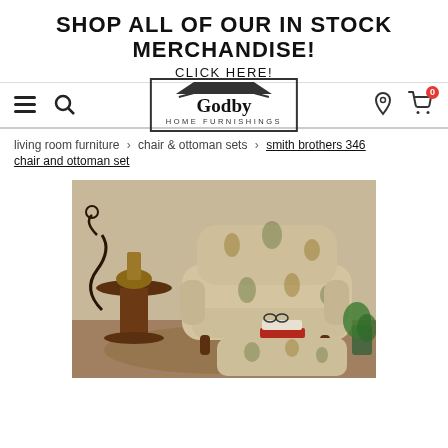SHOP ALL OF OUR IN STOCK MERCHANDISE!
CLICK HERE!
[Figure (logo): Godby Home Furnishings logo with house-shaped border]
living room furniture > chair & ottoman sets > smith brothers 346 chair and ottoman set
[Figure (photo): Photo of a floral patterned armchair and ottoman in a living room setting]